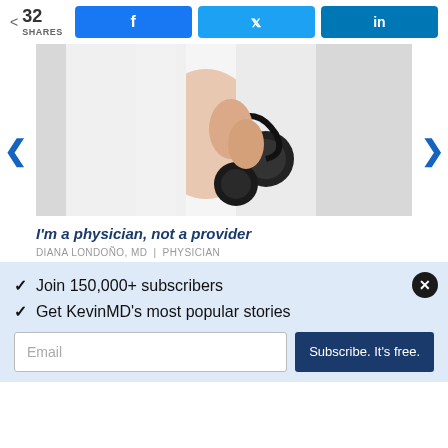32 SHARES | Facebook | Twitter | LinkedIn
[Figure (photo): Person in white lab coat holding a stethoscope]
I'm a physician, not a provider
DIANA LONDOÑO, MD | PHYSICIAN
✓ Join 150,000+ subscribers
✓ Get KevinMD's most popular stories
Email | Subscribe. It's free.